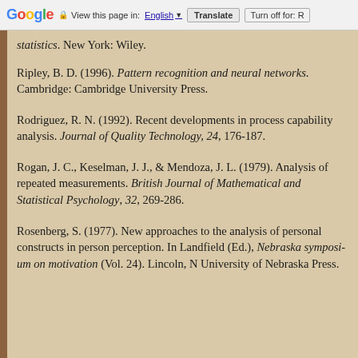Google  View this page in: English ▼  Translate  Turn off for: R
statistics. New York: Wiley.
Ripley, B. D. (1996). Pattern recognition and neural networks. Cambridge: Cambridge University Press.
Rodriguez, R. N. (1992). Recent developments in process capability analysis. Journal of Quality Technology, 24, 176-187.
Rogan, J. C., Keselman, J. J., & Mendoza, J. L. (1979). Analysis of repeated measurements. British Journal of Mathematical and Statistical Psychology, 32, 269-286.
Rosenberg, S. (1977). New approaches to the analysis of personal constructs in person perception. In Landfield (Ed.), Nebraska symposium on motivation (Vol. 24). Lincoln, N. University of Nebraska Press.